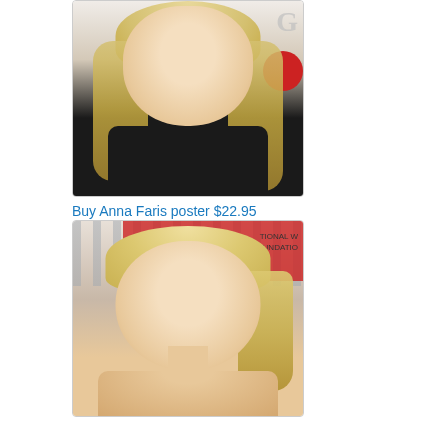[Figure (photo): Photo of Anna Faris in black top against beige/GQ background, blonde hair]
Buy Anna Faris poster $22.95
[Figure (photo): Photo of Anna Faris close-up headshot against TIONAL WOMEN'S FOUNDATION event backdrop, blonde updo hair]